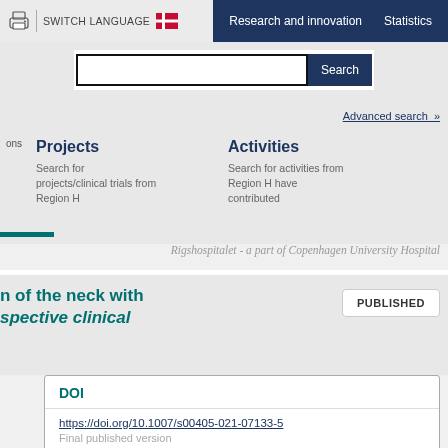SWITCH LANGUAGE | Research and innovation | Statistics
[Figure (screenshot): Search bar with Search button and Advanced search link]
Projects
Search for projects/clinical trials from Region H
Activities
Search for activities from Region H have contributed
Rigshospitalet - a part of Copenhagen University Hospital
n of the neck with spective clinical
PUBLISHED
DOI
https://doi.org/10.1007/s00405-021-07133-5
Final published version